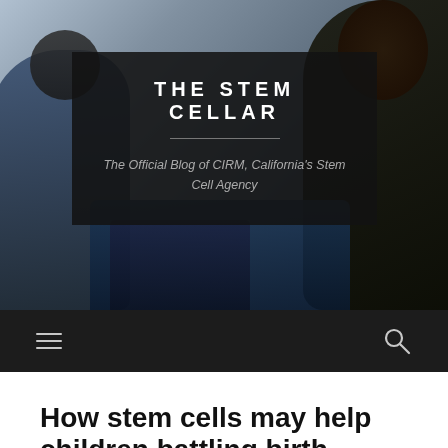[Figure (photo): Header banner photo showing group of people including medical professionals and patients, used as background for The Stem Cellar blog header]
THE STEM CELLAR
The Official Blog of CIRM, California's Stem Cell Agency
Navigation bar with hamburger menu and search icon
How stem cells may help children battling birth injuries